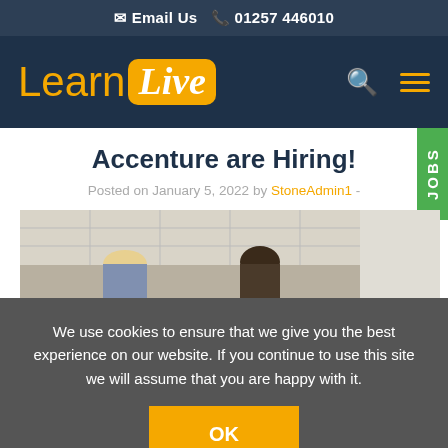✉ Email Us 📞 01257 446010
[Figure (logo): LearnLive logo with yellow 'Learn' text and white 'Live' in yellow rounded box on dark navy background]
Accenture are Hiring!
Posted on January 5, 2022 by StoneAdmin1 -
[Figure (photo): Office scene with people viewed from behind near ceiling with tiled panels]
We use cookies to ensure that we give you the best experience on our website. If you continue to use this site we will assume that you are happy with it.
OK